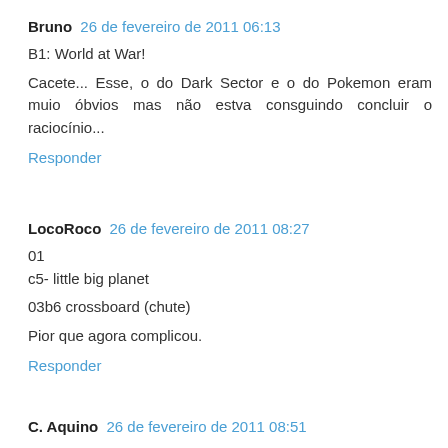Bruno  26 de fevereiro de 2011 06:13
B1: World at War!

Cacete... Esse, o do Dark Sector e o do Pokemon eram muio óbvios mas não estva consguindo concluir o raciocínio...
Responder
LocoRoco  26 de fevereiro de 2011 08:27
01
c5- little big planet

03b6 crossboard (chute)

Pior que agora complicou.
Responder
C. Aquino  26 de fevereiro de 2011 08:51